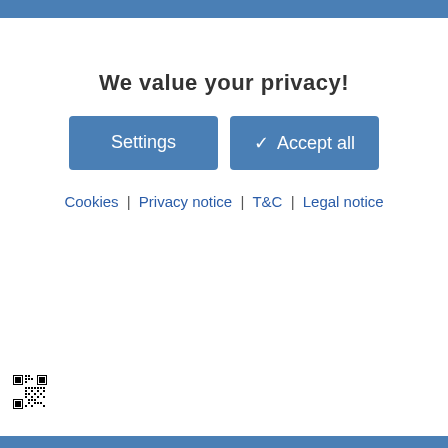We value your privacy!
[Figure (screenshot): Two buttons side by side: 'Settings' (blue) and 'Accept all' (blue with checkmark)]
Cookies | Privacy notice | T&C | Legal notice
[Figure (other): QR code in bottom left corner]